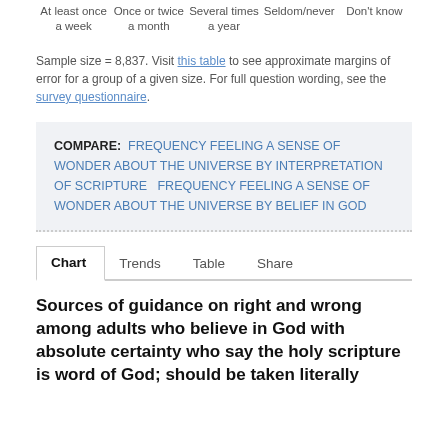At least once a week   Once or twice a month   Several times a year   Seldom/never   Don't know
Sample size = 8,837. Visit this table to see approximate margins of error for a group of a given size. For full question wording, see the survey questionnaire.
COMPARE:  FREQUENCY FEELING A SENSE OF WONDER ABOUT THE UNIVERSE BY INTERPRETATION OF SCRIPTURE    FREQUENCY FEELING A SENSE OF WONDER ABOUT THE UNIVERSE BY BELIEF IN GOD
Chart   Trends   Table   Share
Sources of guidance on right and wrong among adults who believe in God with absolute certainty who say the holy scripture is word of God; should be taken literally